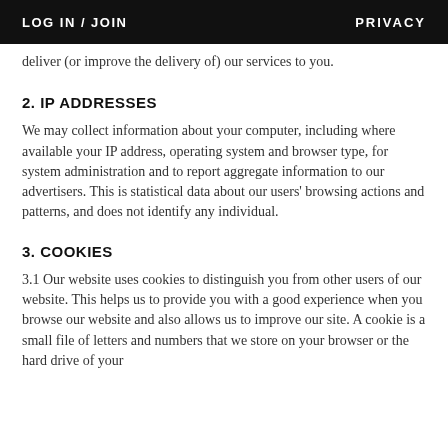LOG IN / JOIN    PRIVACY
deliver (or improve the delivery of) our services to you.
2. IP ADDRESSES
We may collect information about your computer, including where available your IP address, operating system and browser type, for system administration and to report aggregate information to our advertisers. This is statistical data about our users' browsing actions and patterns, and does not identify any individual.
3. COOKIES
3.1 Our website uses cookies to distinguish you from other users of our website. This helps us to provide you with a good experience when you browse our website and also allows us to improve our site. A cookie is a small file of letters and numbers that we store on your browser or the hard drive of your